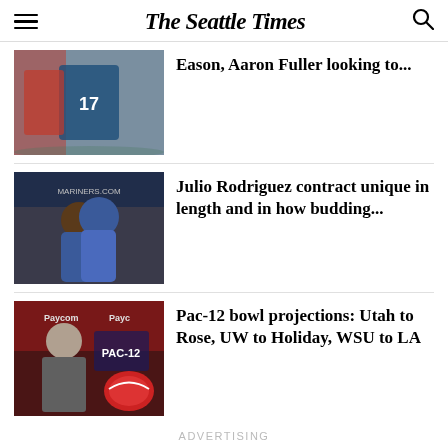The Seattle Times
[Figure (photo): Football players in action, one wearing a Seahawks #17 jersey]
Eason, Aaron Fuller looking to...
[Figure (photo): Julio Rodriguez hugging someone at a press event with Mariners.com banner]
Julio Rodriguez contract unique in length and in how budding...
[Figure (photo): Coach at press conference with Pac-12 and Paycom banners, football helmet visible]
Pac-12 bowl projections: Utah to Rose, UW to Holiday, WSU to LA
ADVERTISING